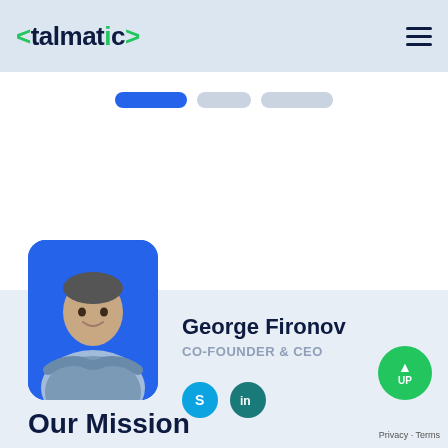<talmatic>
[Figure (infographic): Three horizontal pill-shaped navigation indicators: one active (blue/wider), two inactive (gray)]
[Figure (photo): Photo of George Fironov, a man with crossed arms wearing a blue-gray shirt, displayed in a rounded blue card]
George Fironov
CO-FOUNDER & CEO
[Figure (infographic): Social media icons: Skype (blue circle with S) and LinkedIn (teal circle with 'in')]
Our Mission